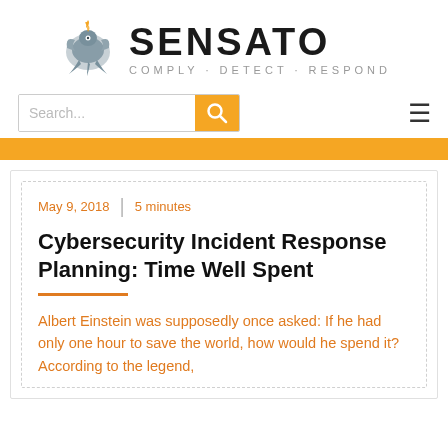[Figure (logo): Sensato logo with phoenix bird icon and text SENSATO, tagline COMPLY · DETECT · RESPOND]
[Figure (screenshot): Search bar with orange search button and hamburger menu icon]
Cybersecurity Incident Response Planning: Time Well Spent
May 9, 2018  |  5 minutes
Albert Einstein was supposedly once asked: If he had only one hour to save the world, how would he spend it? According to the legend,